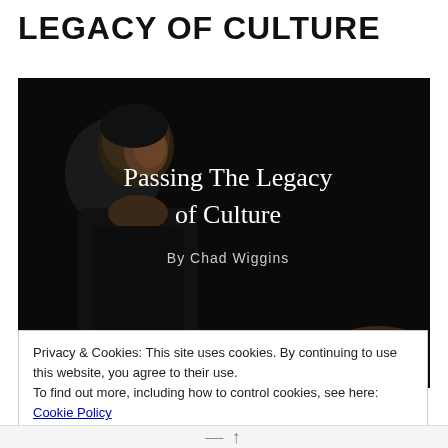LEGACY OF CULTURE
[Figure (photo): A man in a black turtleneck photographed against a dark background, looking down. Text overlay reads 'Passing The Legacy of Culture' by Chad Wiggins in white serif font.]
Privacy & Cookies: This site uses cookies. By continuing to use this website, you agree to their use.
To find out more, including how to control cookies, see here: Cookie Policy
Close and accept